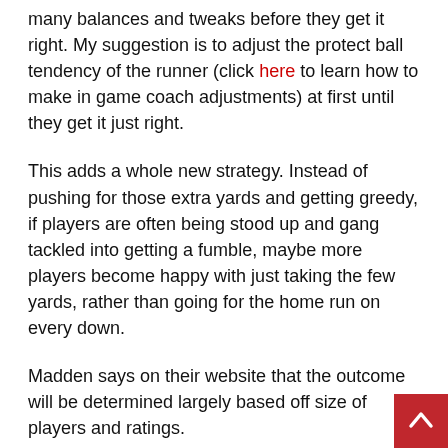many balances and tweaks before they get it right. My suggestion is to adjust the protect ball tendency of the runner (click here to learn how to make in game coach adjustments) at first until they get it just right.
This adds a whole new strategy. Instead of pushing for those extra yards and getting greedy, if players are often being stood up and gang tackled into getting a fumble, maybe more players become happy with just taking the few yards, rather than going for the home run on every down.
Madden says on their website that the outcome will be determined largely based off size of players and ratings.
Haven't we heard this before though? Honestly I'm a little hesitant to believe the claims. This sounds similar to what Madden has promised in the past. We have heard before that tackling is more realistic than ever before, that momentum